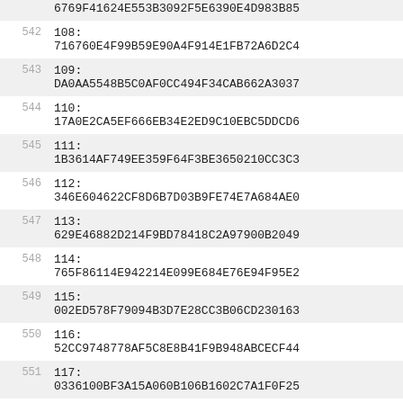| line | content |
| --- | --- |
|  | 6769F41624E553B3092F5E6390E4D983B85... |
| 542 | 108:
716760E4F99B59E90A4F914E1FB72A6D2C4... |
| 543 | 109:
DA0AA5548B5C0AF0CC494F34CAB662A3037... |
| 544 | 110:
17A0E2CA5EF666EB34E2ED9C10EBC5DDCD6... |
| 545 | 111:
1B3614AF749EE359F64F3BE3650210CC3C3... |
| 546 | 112:
346E604622CF8D6B7D03B9FE74E7A684AE0... |
| 547 | 113:
629E46882D214F9BD78418C2A97900B2049... |
| 548 | 114:
765F86114E942214E099E684E76E94F95E2... |
| 549 | 115:
002ED578F79094B3D7E28CC3B06CD230163... |
| 550 | 116:
52CC9748778AF5C8E8B41F9B948ABCECF44... |
| 551 | 117:
0336100BF3A15A060B106B1602C7A1F0F25... |